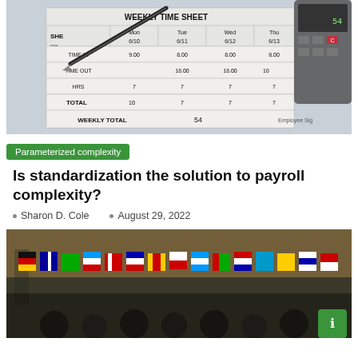[Figure (photo): Weekly time sheet with a pen and calculator visible on top]
Parameterized complexity
Is standardization the solution to payroll complexity?
Sharon D. Cole   August 29, 2022
[Figure (photo): Group of international flags displayed at a formal event, audience visible in foreground]